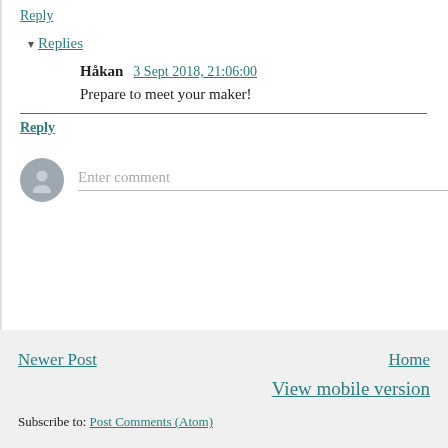Reply
▾ Replies
Håkan   3 Sept 2018, 21:06:00
Prepare to meet your maker!
Reply
Enter comment
Newer Post
Home
View mobile version
Subscribe to: Post Comments (Atom)